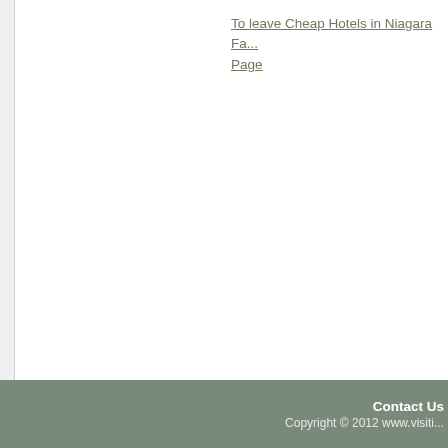To leave Cheap Hotels in Niagara Fa... Page
Contact Us
Copyright © 2012 www.visiti...